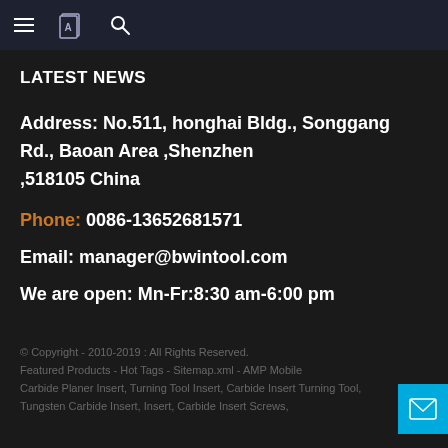Navigation bar with menu, book, and search icons
LATEST NEWS
Address:  No.511, honghai Bldg., Songgang Rd., Baoan Area ,Shenzhen ,518105 China
Phone:  0086-13652681571
Email:  manager@bwintool.com
We are open:  Mn-Fr:8:30 am-6:00 pm
© Copyright - 2010-2019 : All Rights Reserved.
Featured Products - Hot Tags - Sitemap.xml - AMP Mobile
Carbide Planer Insert, Turning Tool Insert, Carbide Insert Turning Tool,
Tungsten Carbide Insert, Insert, Carbide Insert Screws,